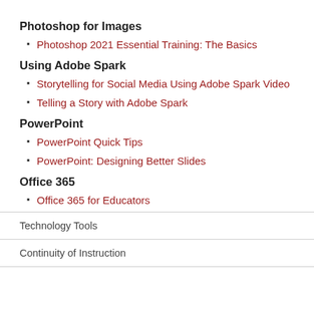Photoshop for Images
Photoshop 2021 Essential Training: The Basics
Using Adobe Spark
Storytelling for Social Media Using Adobe Spark Video
Telling a Story with Adobe Spark
PowerPoint
PowerPoint Quick Tips
PowerPoint: Designing Better Slides
Office 365
Office 365 for Educators
Technology Tools
Continuity of Instruction